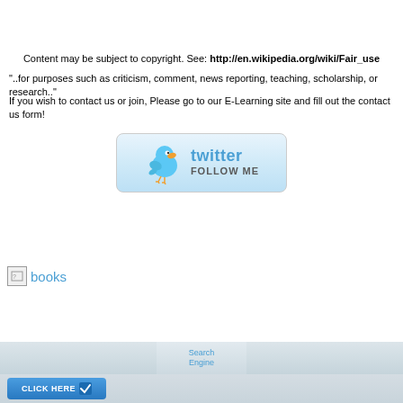Content may be subject to copyright. See: http://en.wikipedia.org/wiki/Fair_use
"..for purposes such as criticism, comment, news reporting, teaching, scholarship, or research.."
If you wish to contact us or join, Please go to our E-Learning site and fill out the contact us form!
[Figure (illustration): Twitter Follow Me button with bird mascot]
[Figure (illustration): Broken image placeholder followed by 'books' text link in blue]
[Figure (screenshot): Website footer area with navigation columns, Search Engine link in center, and CLICK HERE button on left]